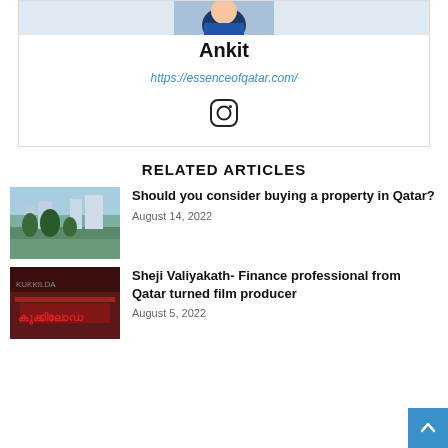[Figure (photo): Author avatar photo of Ankit, partial view at top]
Ankit
https://essenceofqatar.com/
[Figure (illustration): Instagram icon]
RELATED ARTICLES
[Figure (photo): Photo of Qatar skyline with palm trees and skyscrapers]
Should you consider buying a property in Qatar?
August 14, 2022
[Figure (photo): Movie poster with Malayalam text (Kukkiloda)]
Sheji Valiyakath- Finance professional from Qatar turned film producer
August 5, 2022